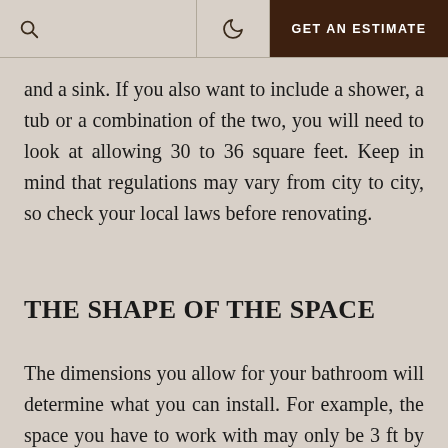GET AN ESTIMATE
and a sink. If you also want to include a shower, a tub or a combination of the two, you will need to look at allowing 30 to 36 square feet. Keep in mind that regulations may vary from city to city, so check your local laws before renovating.
THE SHAPE OF THE SPACE
The dimensions you allow for your bathroom will determine what you can install. For example, the space you have to work with may only be 3 ft by 5